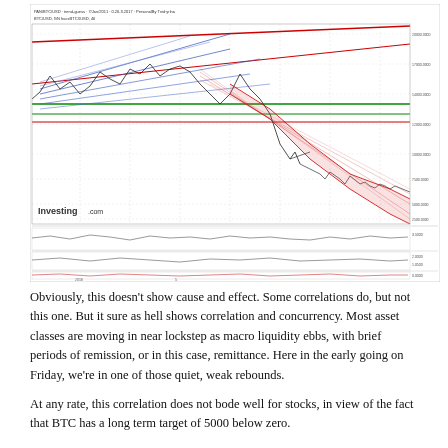[Figure (continuous-plot): BTC/USD multi-timeframe trend analysis chart from investing.com, showing price history with multiple overlaid trend lines (red, blue, green) and a descending channel in red. The chart shows a peak around 20000 and significant decline. Below are two oscillator/indicator sub-panels showing wave-like indicators around 3.5000, 2.0000/1.0500, and 0.0000 levels. Chart is labeled with 'Investing.com' watermark.]
Obviously, this doesn't show cause and effect. Some correlations do, but not this one. But it sure as hell shows correlation and concurrency. Most asset classes are moving in near lockstep as macro liquidity ebbs, with brief periods of remission, or in this case, remittance. Here in the early going on Friday, we're in one of those quiet, weak rebounds.
At any rate, this correlation does not bode well for stocks, in view of the fact that BTC has a long term target of 5000 below zero.